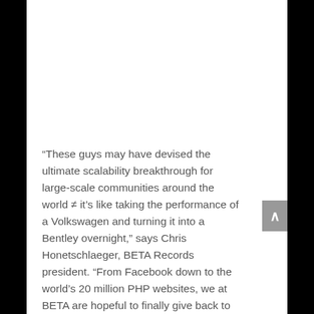“These guys may have devised the ultimate scalability breakthrough for large-scale communities around the world ≠ it’s like taking the performance of a Volkswagen and turning it into a Bentley overnight,” says Chris Honetschlaeger, BETA Records president. “From Facebook down to the world’s 20 million PHP websites, we at BETA are hopeful to finally give back to